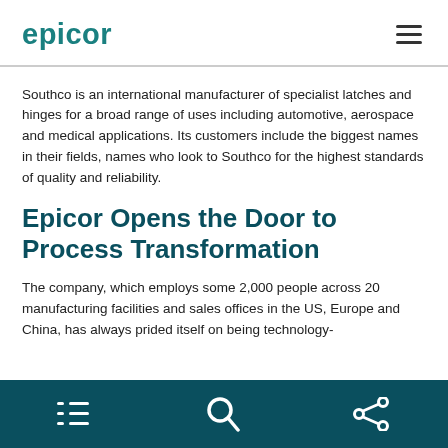Epicor
Southco is an international manufacturer of specialist latches and hinges for a broad range of uses including automotive, aerospace and medical applications. Its customers include the biggest names in their fields, names who look to Southco for the highest standards of quality and reliability.
Epicor Opens the Door to Process Transformation
The company, which employs some 2,000 people across 20 manufacturing facilities and sales offices in the US, Europe and China, has always prided itself on being technology-
Navigation toolbar with list, search, and share icons